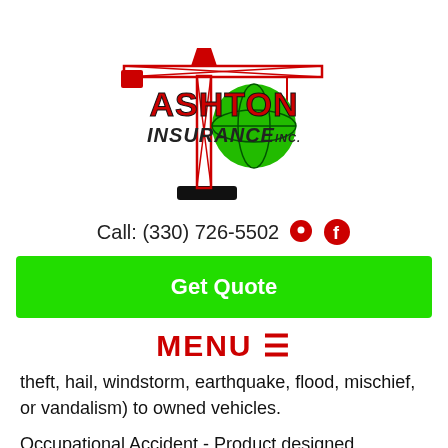[Figure (logo): Ashton Insurance Inc. logo with red construction crane and green globe]
Call: (330) 726-5502
Get Quote
MENU ☰
theft, hail, windstorm, earthquake, flood, mischief, or vandalism) to owned vehicles.
Occupational Accident - Product designed specifically